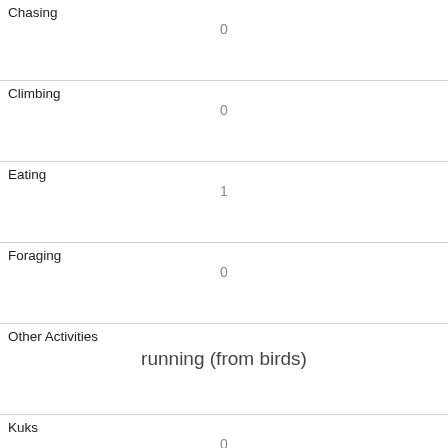| Chasing | 0 |
| Climbing | 0 |
| Eating | 1 |
| Foraging | 0 |
| Other Activities | running (from birds) |
| Kuks | 0 |
| Quaas | 0 |
| Moans | 0 |
| Tail flags | 1 |
| Tail twitches | 0 |
| Approaches |  |